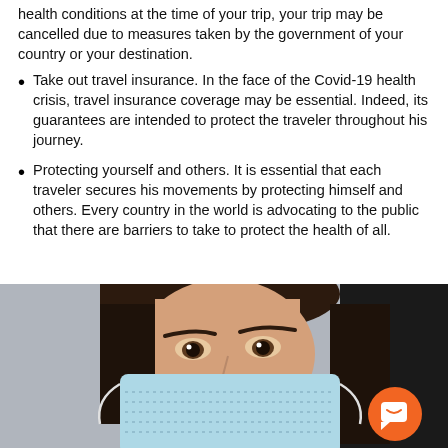health conditions at the time of your trip, your trip may be cancelled due to measures taken by the government of your country or your destination.
Take out travel insurance. In the face of the Covid-19 health crisis, travel insurance coverage may be essential. Indeed, its guarantees are intended to protect the traveler throughout his journey.
Protecting yourself and others. It is essential that each traveler secures his movements by protecting himself and others. Every country in the world is advocating to the public that there are barriers to take to protect the health of all.
[Figure (photo): Close-up photo of a woman wearing a light blue surgical face mask, looking directly at the camera. Her eyes are visible above the mask. There is an orange chat button overlay in the bottom-right corner of the image.]